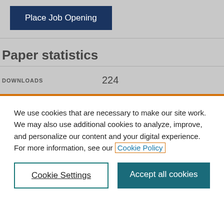[Figure (screenshot): Place Job Opening button with dark navy background and white text]
Paper statistics
| DOWNLOADS |  |
| --- | --- |
|  | 224 |
We use cookies that are necessary to make our site work. We may also use additional cookies to analyze, improve, and personalize our content and your digital experience. For more information, see our Cookie Policy
Cookie Settings
Accept all cookies